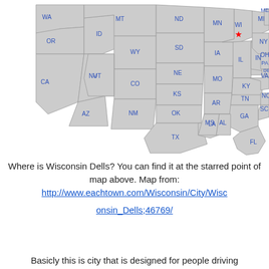[Figure (map): Map of the contiguous United States with state abbreviations labeled in blue. A red star marks the location of Wisconsin (WI) in the upper Midwest.]
Where is Wisconsin Dells? You can find it at the starred point of map above. Map from: http://www.eachtown.com/Wisconsin/City/Wisconsin_Dells;46769/
Basicly this is city that is designed for people driving